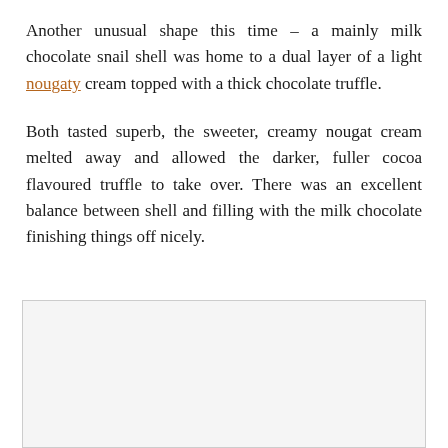Another unusual shape this time – a mainly milk chocolate snail shell was home to a dual layer of a light nougaty cream topped with a thick chocolate truffle.
Both tasted superb, the sweeter, creamy nougat cream melted away and allowed the darker, fuller cocoa flavoured truffle to take over. There was an excellent balance between shell and filling with the milk chocolate finishing things off nicely.
[Figure (photo): A light grey rectangular image placeholder box at the bottom of the page.]